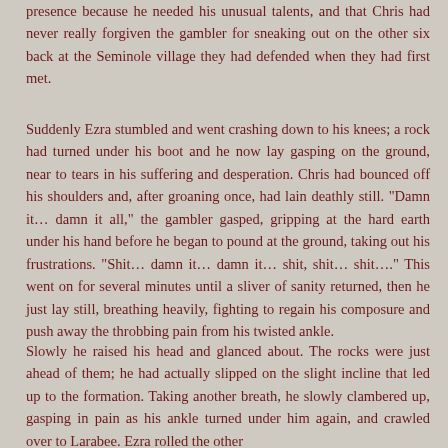presence because he needed his unusual talents, and that Chris had never really forgiven the gambler for sneaking out on the other six back at the Seminole village they had defended when they had first met.
Suddenly Ezra stumbled and went crashing down to his knees; a rock had turned under his boot and he now lay gasping on the ground, near to tears in his suffering and desperation. Chris had bounced off his shoulders and, after groaning once, had lain deathly still. "Damn it… damn it all," the gambler gasped, gripping at the hard earth under his hand before he began to pound at the ground, taking out his frustrations. "Shit… damn it… damn it… shit, shit… shit…." This went on for several minutes until a sliver of sanity returned, then he just lay still, breathing heavily, fighting to regain his composure and push away the throbbing pain from his twisted ankle.
Slowly he raised his head and glanced about. The rocks were just ahead of them; he had actually slipped on the slight incline that led up to the formation. Taking another breath, he slowly clambered up, gasping in pain as his ankle turned under him again, and crawled over to Larabee. Ezra rolled the other